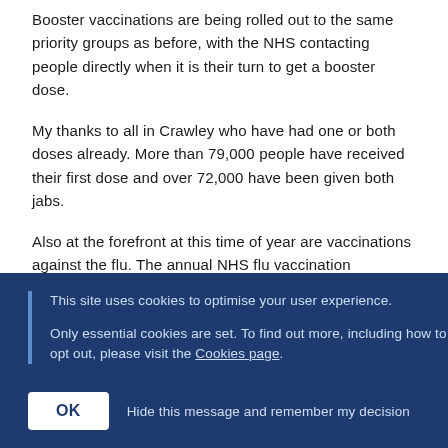Booster vaccinations are being rolled out to the same priority groups as before, with the NHS contacting people directly when it is their turn to get a booster dose.
My thanks to all in Crawley who have had one or both doses already. More than 79,000 people have received their first dose and over 72,000 have been given both jabs.
Also at the forefront at this time of year are vaccinations against the flu. The annual NHS flu vaccination campaign started last month with jabs to be available for all previously eligible groups; primary school children, people aged 65 years and over, vulnerable groups and
This site uses cookies to optimise your user experience.
Only essential cookies are set. To find out more, including how to opt out, please visit the Cookies page.
OK
Hide this message and remember my decision